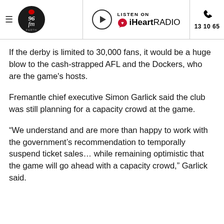96fm Perth | Listen on iHeartRADIO | 13 10 65
If the derby is limited to 30,000 fans, it would be a huge blow to the cash-strapped AFL and the Dockers, who are the game's hosts.
Fremantle chief executive Simon Garlick said the club was still planning for a capacity crowd at the game.
“We understand and are more than happy to work with the government’s recommendation to temporally suspend ticket sales… while remaining optimistic that the game will go ahead with a capacity crowd,” Garlick said.